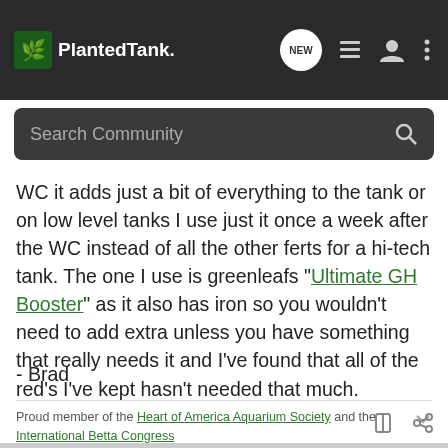PlantedTank
WC it adds just a bit of everything to the tank or on low level tanks I use just it once a week after the WC instead of all the other ferts for a hi-tech tank. The one I use is greenleafs "Ultimate GH Booster" as it also has iron so you wouldn't need to add extra unless you have something that really needs it and I've found that all of the red's I've kept hasn't needed that much.

- Brad
Proud member of the Heart of America Aquarium Society and the International Betta Congress